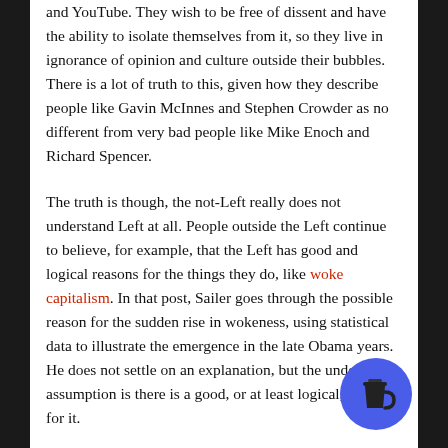and YouTube. They wish to be free of dissent and have the ability to isolate themselves from it, so they live in ignorance of opinion and culture outside their bubbles. There is a lot of truth to this, given how they describe people like Gavin McInnes and Stephen Crowder as no different from very bad people like Mike Enoch and Richard Spencer.
The truth is though, the not-Left really does not understand Left at all. People outside the Left continue to believe, for example, that the Left has good and logical reasons for the things they do, like woke capitalism. In that post, Sailer goes through the possible reason for the sudden rise in wokeness, using statistical data to illustrate the emergence in the late Obama years. He does not settle on an explanation, but the underlying assumption is there is a good, or at least logical, reason for it.
Now, by good reason, it is not to imply morally good in absolute, transcendent sense of the idea. The Unabomber had good reasons for sending bombs through the mail, at least from that person's end. From his own rationale...